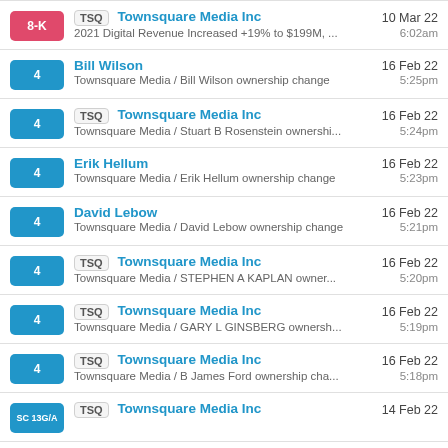8-K | TSQ Townsquare Media Inc | 10 Mar 22 | 2021 Digital Revenue Increased +19% to $199M, ... | 6:02am
4 | Bill Wilson | 16 Feb 22 | Townsquare Media / Bill Wilson ownership change | 5:25pm
4 | TSQ Townsquare Media Inc | 16 Feb 22 | Townsquare Media / Stuart B Rosenstein ownershi... | 5:24pm
4 | Erik Hellum | 16 Feb 22 | Townsquare Media / Erik Hellum ownership change | 5:23pm
4 | David Lebow | 16 Feb 22 | Townsquare Media / David Lebow ownership change | 5:21pm
4 | TSQ Townsquare Media Inc | 16 Feb 22 | Townsquare Media / STEPHEN A KAPLAN owner... | 5:20pm
4 | TSQ Townsquare Media Inc | 16 Feb 22 | Townsquare Media / GARY L GINSBERG ownersh... | 5:19pm
4 | TSQ Townsquare Media Inc | 16 Feb 22 | Townsquare Media / B James Ford ownership cha... | 5:18pm
SC 13G/A | TSQ Townsquare Media Inc | 14 Feb 22